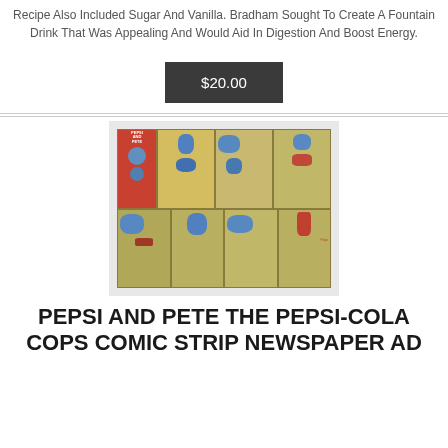Recipe Also Included Sugar And Vanilla. Bradham Sought To Create A Fountain Drink That Was Appealing And Would Aid In Digestion And Boost Energy.
$20.00
[Figure (photo): A comic strip newspaper ad for Pepsi and Pete the Pepsi-Cola Cops, shown in a plastic sleeve. The comic strip shows cartoon characters in multiple panels arranged in two rows.]
PEPSI AND PETE THE PEPSI-COLA COPS COMIC STRIP NEWSPAPER AD